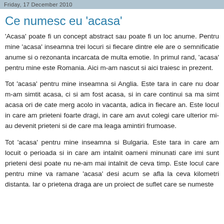Friday, 17 December 2010
Ce numesc eu 'acasa'
'Acasa' poate fi un concept abstract sau poate fi un loc anume. Pentru mine 'acasa' inseamna trei locuri si fiecare dintre ele are o semnificatie anume si o rezonanta incarcata de multa emotie. In primul rand, 'acasa' pentru mine este Romania. Aici m-am nascut si aici traiesc in prezent.
Tot 'acasa' pentru mine inseamna si Anglia. Este tara in care nu doar m-am simtit acasa, ci si am fost acasa, si in care continui sa ma simt acasa ori de cate merg acolo in vacanta, adica in fiecare an. Este locul in care am prieteni foarte dragi, in care am avut colegi care ulterior mi-au devenit prieteni si de care ma leaga amintiri frumoase.
Tot 'acasa' pentru mine inseamna si Bulgaria. Este tara in care am locuit o perioada si in care am intalnit oameni minunati care imi sunt prieteni desi poate nu ne-am mai intalnit de ceva timp. Este locul care pentru mine va ramane 'acasa' desi acum se afla la ceva kilometri distanta. Iar o prietena draga are un proiect de suflet care se numeste